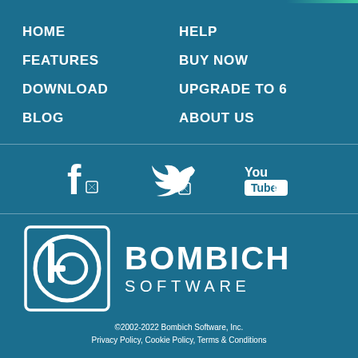HOME
FEATURES
DOWNLOAD
BLOG
HELP
BUY NOW
UPGRADE TO 6
ABOUT US
[Figure (logo): Social media icons: Facebook, Twitter, YouTube]
[Figure (logo): Bombich Software logo with circular 'b' icon and company name]
©2002-2022 Bombich Software, Inc.
Privacy Policy, Cookie Policy, Terms & Conditions